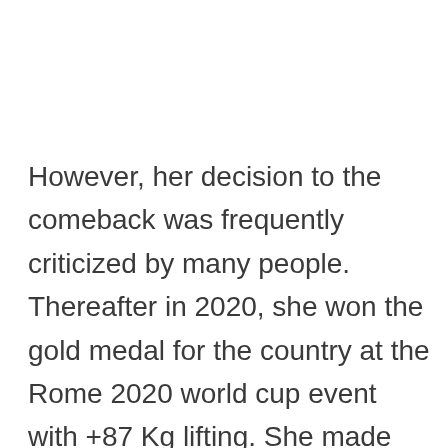However, her decision to the comeback was frequently criticized by many people. Thereafter in 2020, she won the gold medal for the country at the Rome 2020 world cup event with +87 Kg lifting. She made her hold the position of weight lifter in 300kg in domestic competition. But soon after, she stepped back from the weight lifting career in 2001 at the age of 23. She revealed that it became too much to bear. The pressure